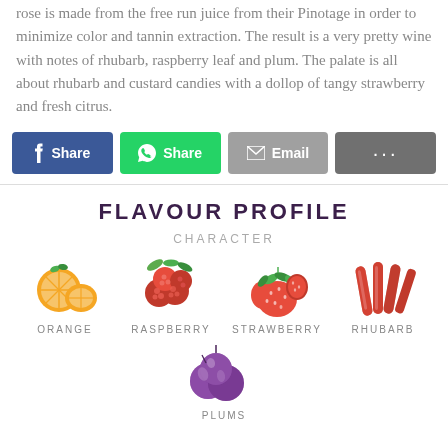rose is made from the free run juice from their Pinotage in order to minimize color and tannin extraction. The result is a very pretty wine with notes of rhubarb, raspberry leaf and plum. The palate is all about rhubarb and custard candies with a dollop of tangy strawberry and fresh citrus.
[Figure (infographic): Social sharing buttons: Facebook Share (blue), WhatsApp Share (green), Email (grey), More options (dark grey with dots)]
FLAVOUR PROFILE
CHARACTER
[Figure (infographic): Four fruit icons in a row: Orange, Raspberry, Strawberry, Rhubarb, each with label below. Below that, a fifth fruit icon: Plums (partially visible).]